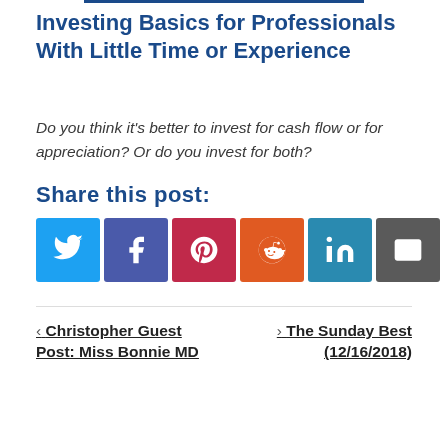Investing Basics for Professionals With Little Time or Experience
Do you think it's better to invest for cash flow or for appreciation? Or do you invest for both?
Share this post:
[Figure (other): Social share buttons: Twitter, Facebook, Pinterest, Reddit, LinkedIn, Email]
‹ Christopher Guest Post: Miss Bonnie MD
> The Sunday Best (12/16/2018)